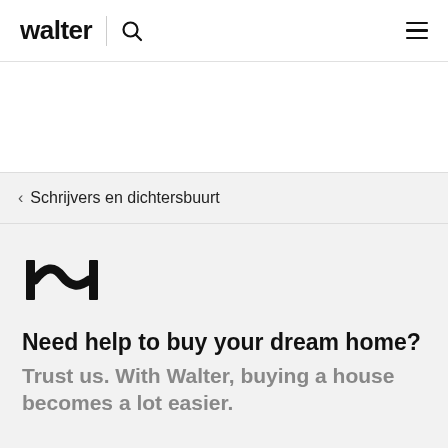walter
< Schrijvers en dichtersbuurt
[Figure (logo): Walter brand icon — stylized bracket-w-bracket mark in black]
Need help to buy your dream home?
Trust us. With Walter, buying a house becomes a lot easier.